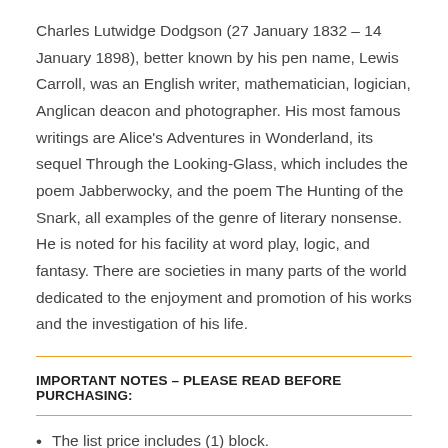Charles Lutwidge Dodgson (27 January 1832 – 14 January 1898), better known by his pen name, Lewis Carroll, was an English writer, mathematician, logician, Anglican deacon and photographer. His most famous writings are Alice's Adventures in Wonderland, its sequel Through the Looking-Glass, which includes the poem Jabberwocky, and the poem The Hunting of the Snark, all examples of the genre of literary nonsense. He is noted for his facility at word play, logic, and fantasy. There are societies in many parts of the world dedicated to the enjoyment and promotion of his works and the investigation of his life.
IMPORTANT NOTES – PLEASE READ BEFORE PURCHASING:
The list price includes (1) block.